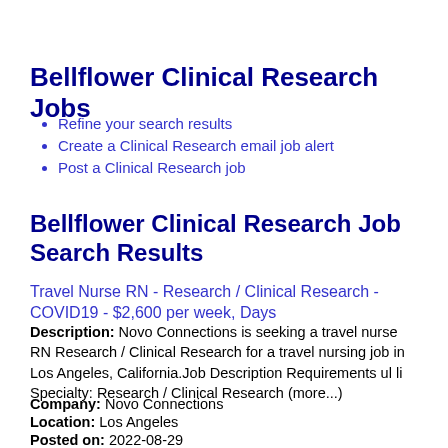Bellflower Clinical Research Jobs
Refine your search results
Create a Clinical Research email job alert
Post a Clinical Research job
Bellflower Clinical Research Job Search Results
Travel Nurse RN - Research / Clinical Research - COVID19 - $2,600 per week, Days
Description: Novo Connections is seeking a travel nurse RN Research / Clinical Research for a travel nursing job in Los Angeles, California.Job Description Requirements ul li Specialty: Research / Clinical Research (more...)
Company: Novo Connections
Location: Los Angeles
Posted on: 2022-08-29